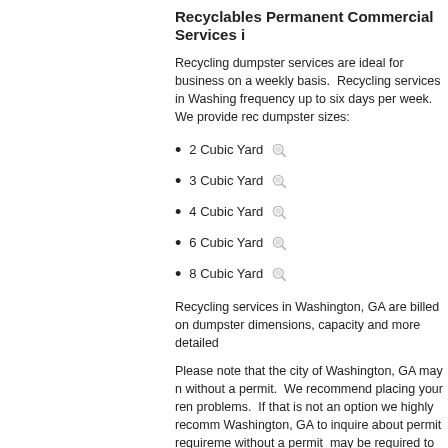Recyclables Permanent Commercial Services i...
Recycling dumpster services are ideal for business... on a weekly basis. Recycling services in Washing... frequency up to six days per week. We provide rec... dumpster sizes:
2 Cubic Yard
3 Cubic Yard
4 Cubic Yard
6 Cubic Yard
8 Cubic Yard
Recycling services in Washington, GA are billed on... dumpster dimensions, capacity and more detailed...
Please note that the city of Washington, GA may n... without a permit. We recommend placing your ren... problems. If that is not an option we highly recomm... Washington, GA to inquire about permit requireme... without a permit may be required to be removed w...
Our goal is to streamline and simplify the dumpste... have achieved this goal by combining the ease an... industry. We accept all major credit cards enabling... enter your zip code, select the appropriate dumpst... site. Your dumpster will arrive on the date and loc...